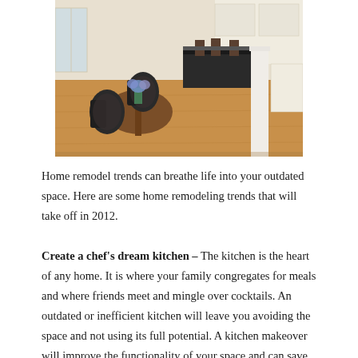[Figure (photo): Interior photo of a modern open-plan kitchen with hardwood floors, white cabinets, a dark island with bar stools, a round wooden dining table with floral patterned chairs, a white column, and a vase of blue flowers.]
Home remodel trends can breathe life into your outdated space. Here are some home remodeling trends that will take off in 2012.
Create a chef’s dream kitchen – The kitchen is the heart of any home. It is where your family congregates for meals and where friends meet and mingle over cocktails. An outdated or inefficient kitchen will leave you avoiding the space and not using its full potential. A kitchen makeover will improve the functionality of your space and can save you money in the long run with energy